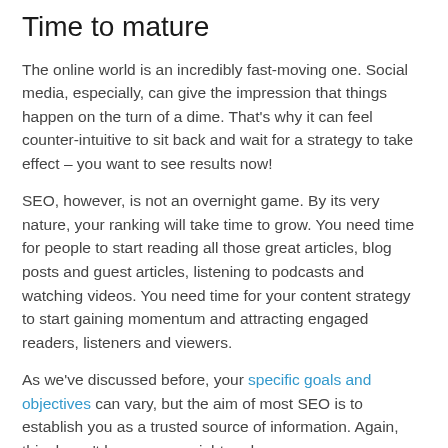Time to mature
The online world is an incredibly fast-moving one. Social media, especially, can give the impression that things happen on the turn of a dime. That’s why it can feel counter-intuitive to sit back and wait for a strategy to take effect – you want to see results now!
SEO, however, is not an overnight game. By its very nature, your ranking will take time to grow. You need time for people to start reading all those great articles, blog posts and guest articles, listening to podcasts and watching videos. You need time for your content strategy to start gaining momentum and attracting engaged readers, listeners and viewers.
As we’ve discussed before, your specific goals and objectives can vary, but the aim of most SEO is to establish you as a trusted source of information. Again, this doesn’t happen overnight and